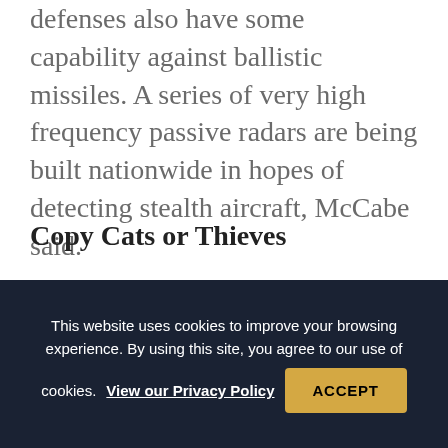defenses also have some capability against ballistic missiles. A series of very high frequency passive radars are being built nationwide in hopes of detecting stealth aircraft, McCabe said.
Copy Cats or Thieves
China has unveiled and test-flown two types of combat aircraft prototypes, which appear to be based on US stealth designs. While physics often drives engineers to similar-looking solutions in aviation, “they’re stealing us blind,” McCabe said of
This website uses cookies to improve your browsing experience. By using this site, you agree to our use of cookies. View our Privacy Policy ACCEPT